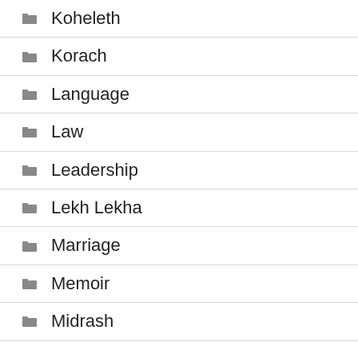Koheleth
Korach
Language
Law
Leadership
Lekh Lekha
Marriage
Memoir
Midrash